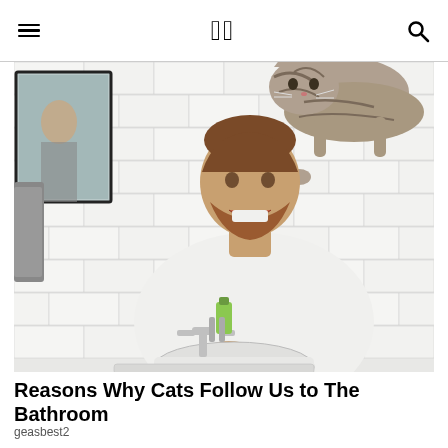DC
[Figure (photo): A bearded man smiling at a cat perched on his shoulder/head while he leans over a bathroom sink washing his hands. White subway tile walls, mirror in background, chrome faucet, and a green soap bottle visible.]
Reasons Why Cats Follow Us to The Bathroom
geasbest2